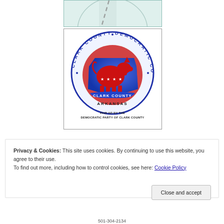[Figure (logo): Partial top image showing a road/map with light teal background, partially cropped]
[Figure (logo): Clark County Democratic Committee circular logo featuring a red donkey on blue Arkansas state shape, surrounded by circular text 'CLARK COUNTY DEMOCRATIC COMMITTEE' and 'CLARK COUNTY ARKANSAS' banner. Text below reads 'PAID AD BY THE DEMOCRATIC PARTY OF CLARK COUNTY']
Privacy & Cookies: This site uses cookies. By continuing to use this website, you agree to their use.
To find out more, including how to control cookies, see here: Cookie Policy
Close and accept
501-304-2134